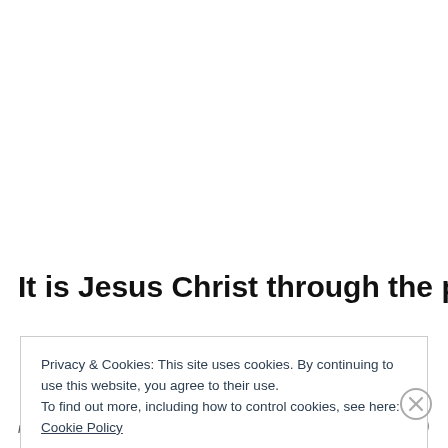It is Jesus Christ through the power of
Privacy & Cookies: This site uses cookies. By continuing to use this website, you agree to their use.
To find out more, including how to control cookies, see here: Cookie Policy
Close and accept
in less than a week